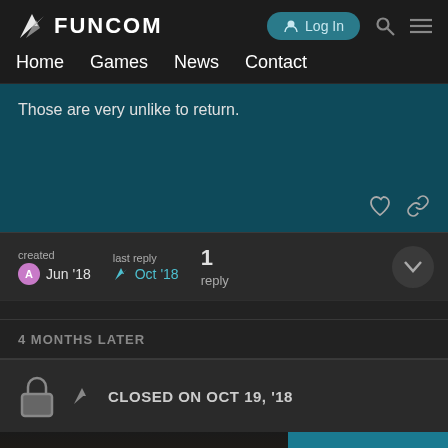FUNCOM — Log In
Home  Games  News  Contact
Those are very unlike to return.
created Jun '18  last reply Oct '18  1 reply
4 MONTHS LATER
CLOSED ON OCT 19, '18
2 / 2
Reply